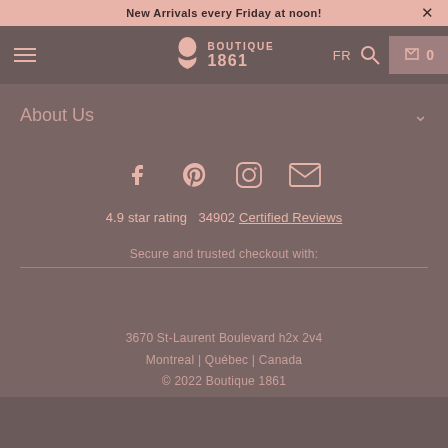New Arrivals every Friday at noon!
[Figure (logo): Boutique 1861 logo with silhouette of woman profile]
About Us
[Figure (infographic): Social media icons: Facebook, Pinterest, Instagram, Email]
4.9 star rating  34902 Certified Reviews
Secure and trusted checkout with:
3670 St-Laurent Boulevard h2x 2v4
Montreal | Québec | Canada
© 2022 Boutique 1861